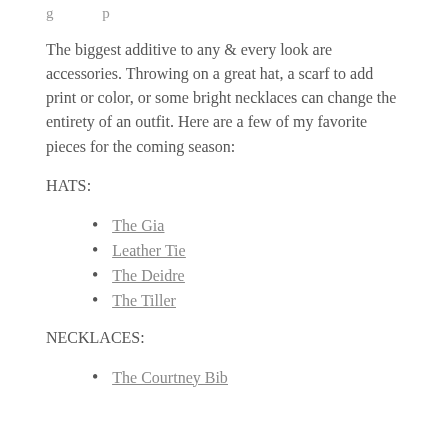The biggest additive to any & every look are accessories. Throwing on a great hat, a scarf to add print or color, or some bright necklaces can change the entirety of an outfit. Here are a few of my favorite pieces for the coming season:
HATS:
The Gia
Leather Tie
The Deidre
The Tiller
NECKLACES:
The Courtney Bib